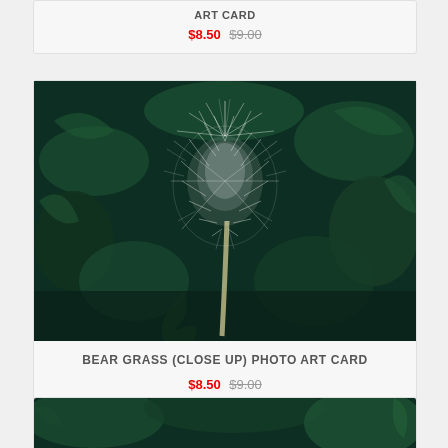ART CARD
$8.50 $9.00
[Figure (photo): Close-up photograph of Bear Grass flower head (white fluffy plume) against dark green foliage background]
BEAR GRASS (CLOSE UP) PHOTO ART CARD
$8.50 $9.00
[Figure (photo): Partial view of another nature/plant photograph with dark green foliage, cut off at bottom of page]